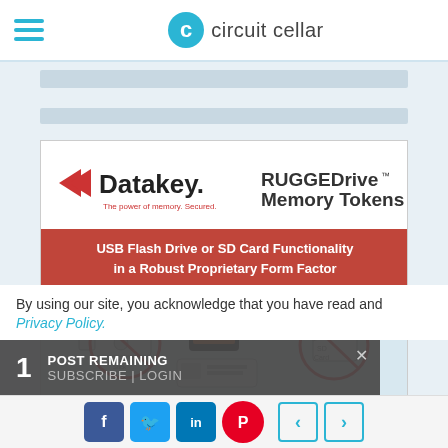circuit cellar
[Figure (screenshot): Datakey RUGGEDrive Memory Tokens advertisement. Shows logo, tagline 'The power of memory. Secured.', headline 'USB Flash Drive or SD Card Functionality in a Robust Proprietary Form Factor', product images with crossed-out USB stick and SD card, and text 'Need a USB Stick or SD Card...That Doesn't Look Like One?']
By using our site, you acknowledge that you have read and
Privacy Policy.
1 POST REMAINING SUBSCRIBE | LOGIN
[Figure (screenshot): Social sharing buttons: Facebook, Twitter, LinkedIn, Pinterest, and navigation arrows]